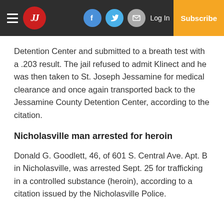JJ | Log In | Subscribe
Detention Center and submitted to a breath test with a .203 result. The jail refused to admit Klinect and he was then taken to St. Joseph Jessamine for medical clearance and once again transported back to the Jessamine County Detention Center, according to the citation.
Nicholasville man arrested for heroin
Donald G. Goodlett, 46, of 601 S. Central Ave. Apt. B in Nicholasville, was arrested Sept. 25 for trafficking in a controlled substance (heroin), according to a citation issued by the Nicholasville Police.